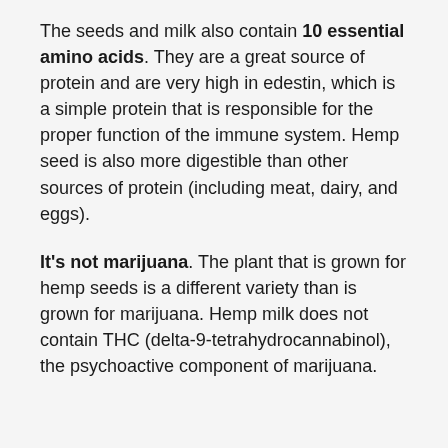The seeds and milk also contain 10 essential amino acids. They are a great source of protein and are very high in edestin, which is a simple protein that is responsible for the proper function of the immune system. Hemp seed is also more digestible than other sources of protein (including meat, dairy, and eggs).
It's not marijuana. The plant that is grown for hemp seeds is a different variety than is grown for marijuana. Hemp milk does not contain THC (delta-9-tetrahydrocannabinol), the psychoactive component of marijuana.